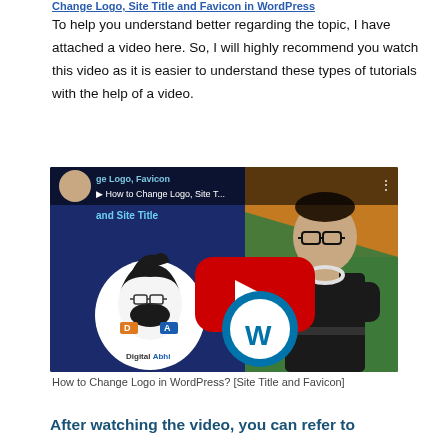Change Logo, Site Title and Favicon in WordPress
To help you understand better regarding the topic, I have attached a video here. So, I will highly recommend you watch this video as it is easier to understand these types of tutorials with the help of a video.
[Figure (screenshot): YouTube video thumbnail for 'How to Change Logo, Site Title and Favicon in WordPress' by Digital Abhi channel. Shows a man with glasses, Digital Abhi logo (cartoon face with glasses), WordPress logo, YouTube play button, and text overlays.]
How to Change Logo in WordPress? [Site Title and Favicon]
After watching the video, you can refer to